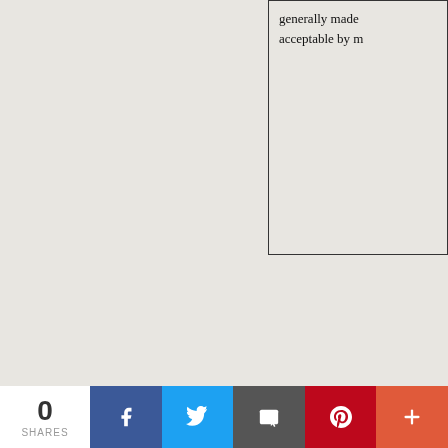generally made acceptable by m
0 SHARES | Facebook | Twitter | Email | Pinterest | More